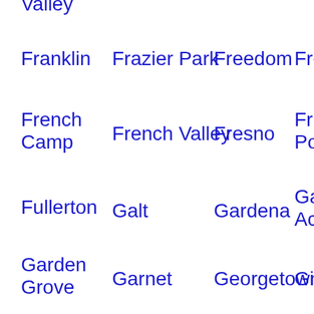Valley
Franklin
Frazier Park
Freedom
Fren…
French Camp
French Valley
Fresno
Fruit… Pock…
Fullerton
Galt
Gardena
Gard… Acres
Garden Grove
Garnet
Georgetown
Gilro…
Glen Avon
Glendale
Glendora
Gold…
Gold River
Goleta
Gonzales
Goo…
Goshen
Grand Terrace
Granite Bay
Gra…